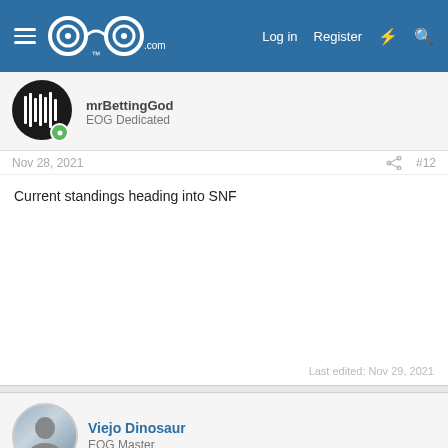EOG Sports Forum - GOG.com navigation bar with Log in, Register links
mrBettingGod
EOG Dedicated
Nov 28, 2021 #12
Current standings heading into SNF
Last edited: Nov 29, 2021
Viejo Dinosaur
EOG Master